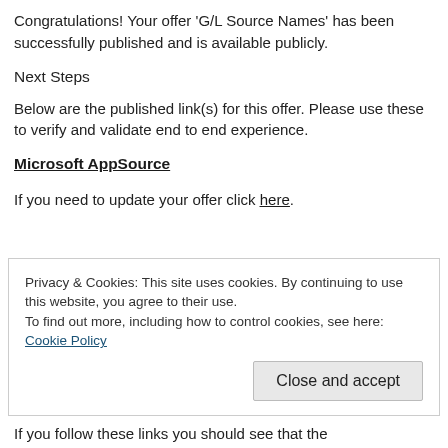Congratulations! Your offer 'G/L Source Names' has been successfully published and is available publicly.
Next Steps
Below are the published link(s) for this offer. Please use these to verify and validate end to end experience.
Microsoft AppSource
If you need to update your offer click here.
Privacy & Cookies: This site uses cookies. By continuing to use this website, you agree to their use.
To find out more, including how to control cookies, see here: Cookie Policy
Close and accept
If you follow these links you should see that the